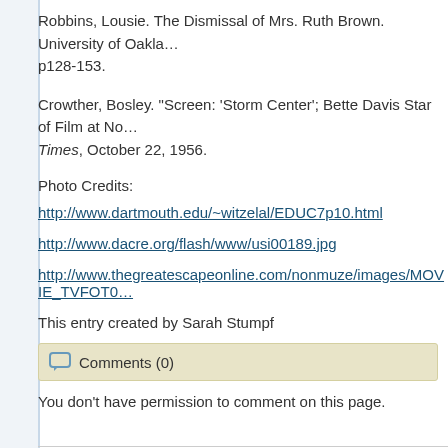Robbins, Lousie. The Dismissal of Mrs. Ruth Brown. University of Oklahoma… p128-153.
Crowther, Bosley. "Screen: 'Storm Center'; Bette Davis Star of Film at No… Times, October 22, 1956.
Photo Credits:
http://www.dartmouth.edu/~witzelal/EDUC7p10.html
http://www.dacre.org/flash/www/usi00189.jpg
http://www.thegreatescapeonline.com/nonmuze/images/MOVIE_TVFOTO…
This entry created by Sarah Stumpf
Comments (0)
You don't have permission to comment on this page.